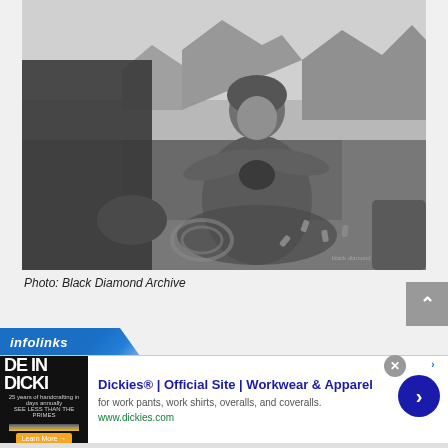[Figure (photo): Black and white photograph of a woman in a beanie hat crouching outdoors in a mountainous landscape, handling climbing gear/ropes on the ground. Another person is visible in the foreground out of focus. Mountains and cloudy sky in background.]
Photo: Black Diamond Archive
[Figure (screenshot): Infolinks advertisement bar and Dickies ad. Ad shows 'Dickies® | Official Site | Workwear & Apparel' with subtitle 'for work pants, work shirts, overalls, and coveralls.' and URL www.dickies.com. Ad image shows 'DE IN DICKI' text on dark background with sunset image.]